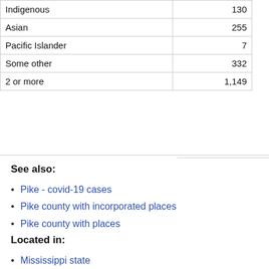| Indigenous | 130 |
| Asian | 255 |
| Pacific Islander | 7 |
| Some other | 332 |
| 2 or more | 1,149 |
See also:
Pike - covid-19 cases
Pike county with incorporated places
Pike county with places
Located in:
Mississippi state
McComb micropolitan statistical area
USA: Counties
[Figure (screenshot): Video thumbnail with black background showing 'USA: Counties' text and a three-dot menu icon]